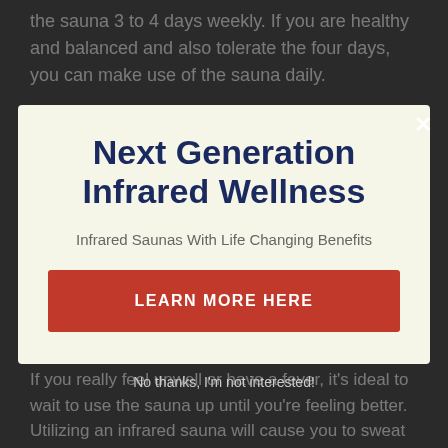the sauna 3 to 4 days weekly. If you are healthy and balanced and also tolerate the four days, you can make use of the sauna daily.
Next Generation Infrared Wellness
Infrared Saunas With Life Changing Benefits
LEARN MORE HERE
No thanks, I'm not interested!
If you really feel unwell or have a fever, it's ideal to wait to use the sauna up until you're feeling better. Utilizing an infrared sauna will cause you to sweat